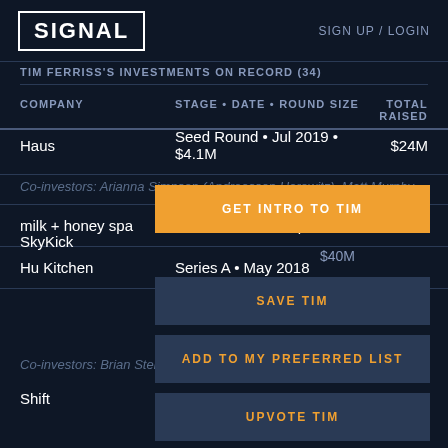SIGNAL   SIGN UP / LOGIN
TIM FERRISS'S INVESTMENTS ON RECORD (34)
| COMPANY | STAGE • DATE • ROUND SIZE | TOTAL RAISED |
| --- | --- | --- |
| Haus | Seed Round • Jul 2019 • $4.1M | $24M |
| Co-investors: Arianna Simpson (Andreessen Horowitz), Matt Murphy… |  |  |
| milk + honey spa | Venture Round • Apr 2019 |  |
| Hu Kitchen | Series A • May 2018 |  |
| SkyKick |  | $40M |
|  |  | $10M |
| Co-investors: Brian Stenger (Trebuchet Partners), Navin Thukkaram |  |  |
| Shift |  | $190M |
GET INTRO TO TIM
SAVE TIM
ADD TO MY PREFERRED LIST
UPVOTE TIM